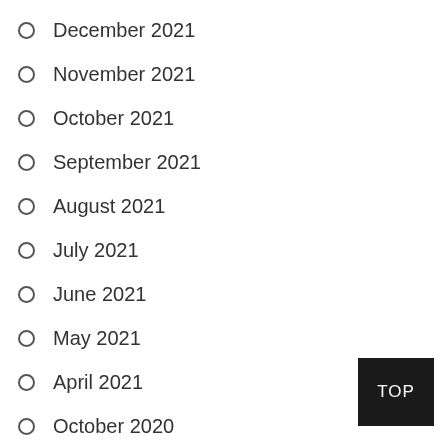December 2021
November 2021
October 2021
September 2021
August 2021
July 2021
June 2021
May 2021
April 2021
October 2020
September 2020
August 2020